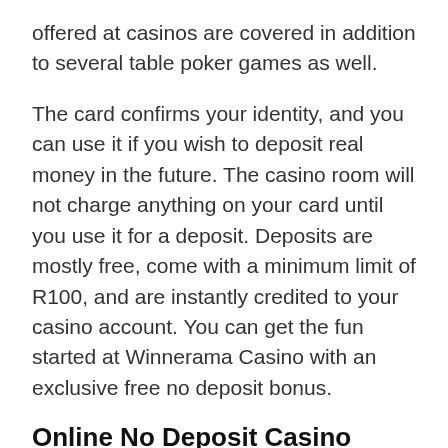offered at casinos are covered in addition to several table poker games as well.
The card confirms your identity, and you can use it if you wish to deposit real money in the future. The casino room will not charge anything on your card until you use it for a deposit. Deposits are mostly free, come with a minimum limit of R100, and are instantly credited to your casino account. You can get the fun started at Winnerama Casino with an exclusive free no deposit bonus.
Online No Deposit Casino 2019
Jacks Pot slot is one of the best video slot casino games that has a transicionenergeticaycc.org massive fanbase on online casinos. Read on for the best free games at reputed online casinos where you